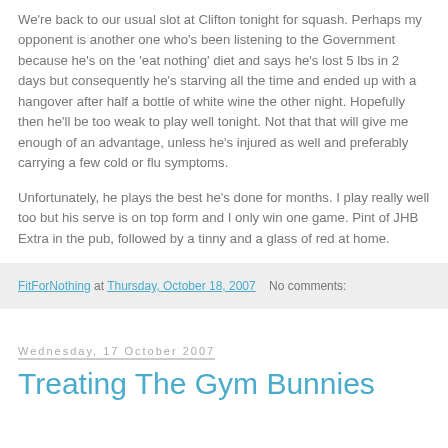We're back to our usual slot at Clifton tonight for squash. Perhaps my opponent is another one who's been listening to the Government because he's on the 'eat nothing' diet and says he's lost 5 lbs in 2 days but consequently he's starving all the time and ended up with a hangover after half a bottle of white wine the other night. Hopefully then he'll be too weak to play well tonight. Not that that will give me enough of an advantage, unless he's injured as well and preferably carrying a few cold or flu symptoms.
Unfortunately, he plays the best he's done for months. I play really well too but his serve is on top form and I only win one game. Pint of JHB Extra in the pub, followed by a tinny and a glass of red at home.
FitForNothing at Thursday, October 18, 2007  No comments:
Wednesday, 17 October 2007
Treating The Gym Bunnies